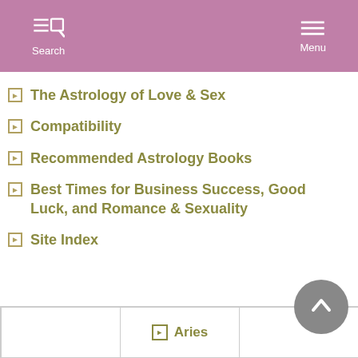Search  Menu
The Astrology of Love & Sex
Compatibility
Recommended Astrology Books
Best Times for Business Success, Good Luck, and Romance & Sexuality
Site Index
|  | Aries |  |
| --- | --- | --- |
|  | Aries |  |